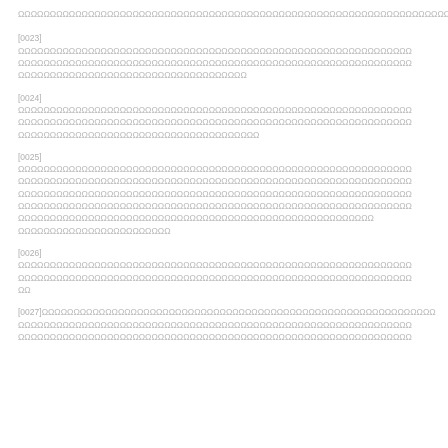[redacted line]
[0023] [redacted paragraph - 3 lines]
[0024] [redacted paragraph - 3 lines]
[0025] [redacted paragraph - 6 lines]
[0026] [redacted paragraph - 3 lines]
[0027] [redacted paragraph - 3 lines]